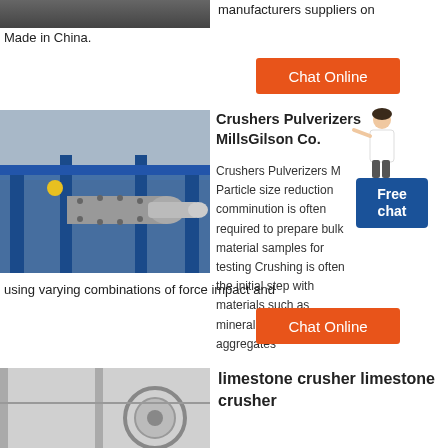[Figure (photo): Dark industrial image at top left]
manufacturers suppliers on Made in China.
Chat Online
[Figure (photo): Industrial crusher/pulverizer machinery with blue steel frame and cylindrical shaft component]
Crushers Pulverizers Mills Gilson Co.
Crushers Pulverizers M Particle size reduction comminution is often required to prepare bulk material samples for testing Crushing is often the initial step with materials such as mineral ores or aggregates
Free chat
using varying combinations of force impact and
Chat Online
[Figure (photo): Limestone crusher machinery, partial view at bottom of page]
limestone crusher limestone crusher